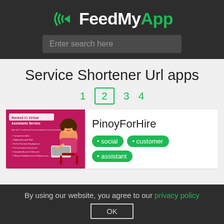[Figure (logo): FeedMyApp logo with green signal/wifi arc icon and text FeedMyApp in white and green]
Enter search here
Service Shortener Url apps
1  2  3  4
[Figure (illustration): Pink/magenta promotional banner showing 'Ranked #1 Virtual Assistants Service' with a cartoon woman using a laptop]
PinoyForHire
• social  • customer  • assistant
By using our website, you agree to our privacy policy
OK